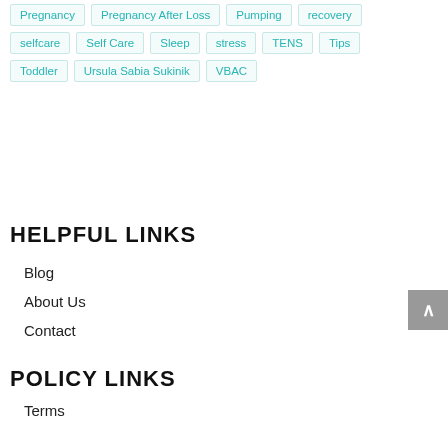Pregnancy
Pregnancy After Loss
Pumping
recovery
selfcare
Self Care
Sleep
stress
TENS
Tips
Toddler
Ursula Sabia Sukinik
VBAC
HELPFUL LINKS
Blog
About Us
Contact
POLICY LINKS
Terms